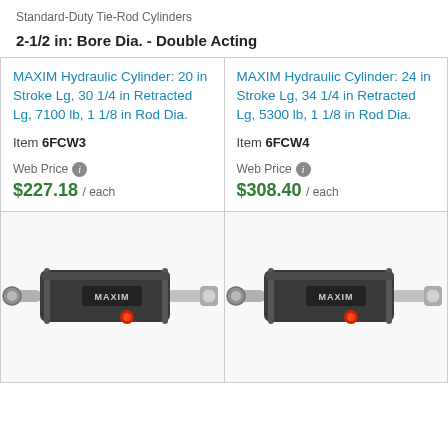Standard-Duty Tie-Rod Cylinders
2-1/2 in: Bore Dia. - Double Acting
MAXIM Hydraulic Cylinder: 20 in Stroke Lg, 30 1/4 in Retracted Lg, 7100 lb, 1 1/8 in Rod Dia. | Item 6FCW3 | Web Price $227.18 / each
MAXIM Hydraulic Cylinder: 24 in Stroke Lg, 34 1/4 in Retracted Lg, 5300 lb, 1 1/8 in Rod Dia. | Item 6FCW4 | Web Price $308.40 / each
[Figure (photo): MAXIM hydraulic tie-rod cylinder, black body with red button and chrome rod, left product 6FCW3]
[Figure (photo): MAXIM hydraulic tie-rod cylinder, black body with red button and chrome rod, right product 6FCW4]